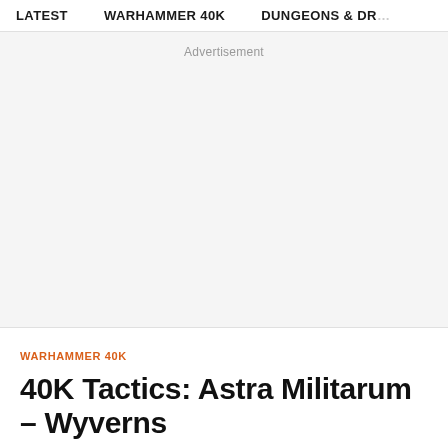LATEST   WARHAMMER 40K   DUNGEONS & DR…
Advertisement
WARHAMMER 40K
40K Tactics: Astra Militarum – Wyverns